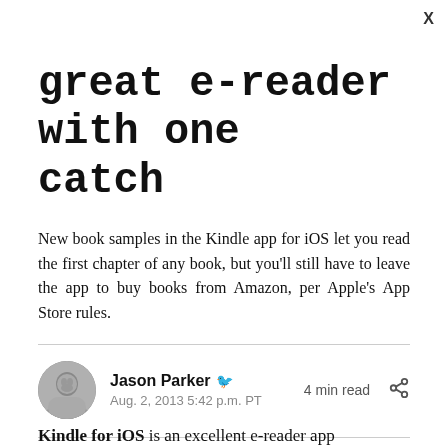X
great e-reader with one catch
New book samples in the Kindle app for iOS let you read the first chapter of any book, but you'll still have to leave the app to buy books from Amazon, per Apple's App Store rules.
Jason Parker · Aug. 2, 2013 5:42 p.m. PT · 4 min read
Kindle for iOS is an excellent e-reader app